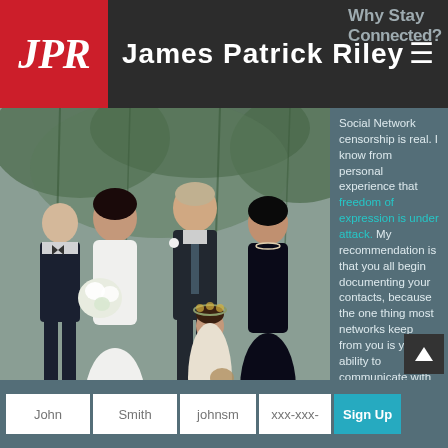JPR James Patrick Riley
Why Stay Connected?
[Figure (photo): Wedding party photo with family members in formal attire, bride holding bouquet, flower girl in front]
Social Network censorship is real. I know from personal experience that freedom of expression is under attack. My recommendation is that you all begin documenting your contacts, because the one thing most networks keep from you is your ability to communicate with each other outside of their platform. Stay in touch! (With the exception of email, all fields are optional.)